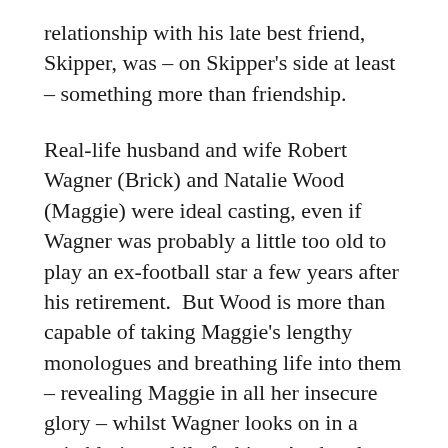relationship with his late best friend, Skipper, was – on Skipper's side at least – something more than friendship.

Real-life husband and wife Robert Wagner (Brick) and Natalie Wood (Maggie) were ideal casting, even if Wagner was probably a little too old to play an ex-football star a few years after his retirement.  But Wood is more than capable of taking Maggie's lengthy monologues and breathing life into them – revealing Maggie in all her insecure glory – whilst Wagner looks on in a suitably immobile fashion. As the play progresses, Brick begins to spark into life a little more, but Wagner rarely breaks a sweat in the scenes he shares with his wife. Not really a criticism, since that's how the part's written